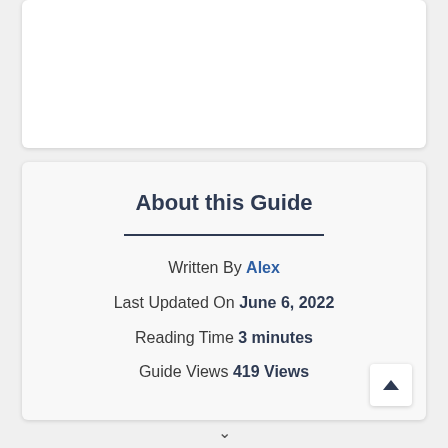[Figure (other): White card panel at top of page, empty content area]
About this Guide
Written By Alex
Last Updated On June 6, 2022
Reading Time 3 minutes
Guide Views 419 Views